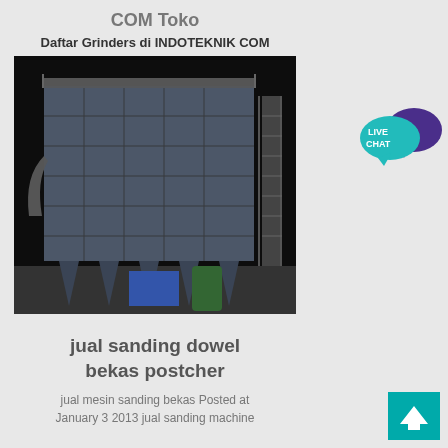COM Toko
Daftar Grinders di INDOTEKNIK COM
[Figure (photo): Industrial dust collector / baghouse filter unit photographed at night, large grey metal structure with scaffolding, hoppers at bottom, a blue cabinet and green tank visible]
jual sanding dowel bekas postcher
jual mesin sanding bekas Posted at January 3 2013 jual sanding machine
[Figure (other): Live chat button - teal speech bubble with LIVE CHAT text and purple chat bubble icon]
[Figure (other): Back to top button - teal square with upward arrow]